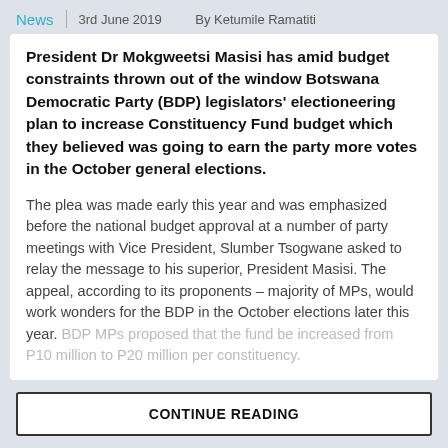News | 3rd June 2019  By Ketumile Ramatiti
President Dr Mokgweetsi Masisi has amid budget constraints thrown out of the window Botswana Democratic Party (BDP) legislators' electioneering plan to increase Constituency Fund budget which they believed was going to earn the party more votes in the October general elections.
The plea was made early this year and was emphasized before the national budget approval at a number of party meetings with Vice President, Slumber Tsogwane asked to relay the message to his superior, President Masisi. The appeal, according to its proponents – majority of MPs, would work wonders for the BDP in the October elections later this year. BDP MPs proposed that the fund be increased from P10 million to P20 million per constituency.
CONTINUE READING